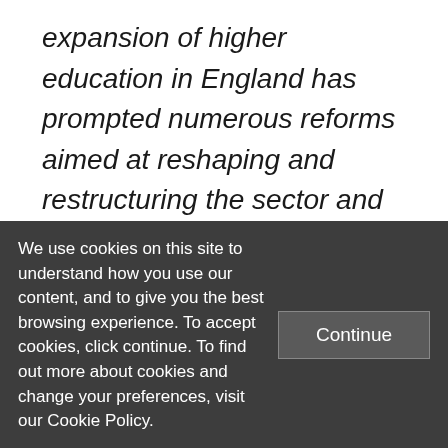expansion of higher education in England has prompted numerous reforms aimed at reshaping and restructuring the sector and its funding. Leading to student riots and sparking some of the sharpest controversies in British higher education, the reforms introduced in 2012/13 are by far the most radical, and those concerning higher education funding and student finances the most far-reaching. This book seeks to
We use cookies on this site to understand how you use our content, and to give you the best browsing experience. To accept cookies, click continue. To find out more about cookies and change your preferences, visit our Cookie Policy.